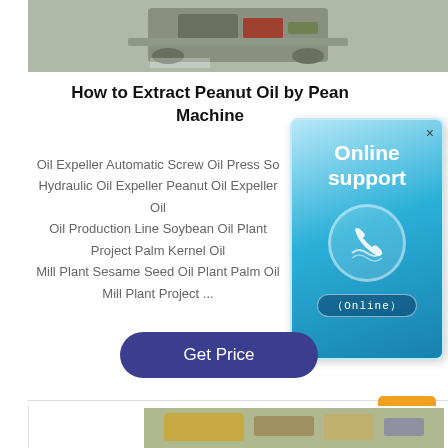[Figure (photo): Photo of an oil expeller/screw press machine on a factory floor]
How to Extract Peanut Oil by Peanut Oil Machine
Oil Expeller Automatic Screw Oil Press So... Hydraulic Oil Expeller Peanut Oil Expeller Oil Oil Production Line Soybean Oil Plant Project Palm Kernel Oil Mill Plant Sesame Seed Oil Plant Palm Oil Mill Plant Project ...
[Figure (infographic): Online support badge with phone icon and '(Online)' label]
[Figure (photo): Photo of yellow oil pressing/extraction equipment]
Get Price